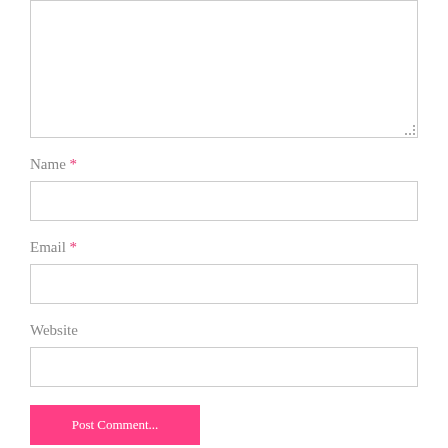[Figure (screenshot): A web comment form showing a textarea at the top (partially visible), followed by labeled input fields for Name (required), Email (required), Website, and a Post Comment button at the bottom. Required fields are marked with a pink/red asterisk.]
Name *
Email *
Website